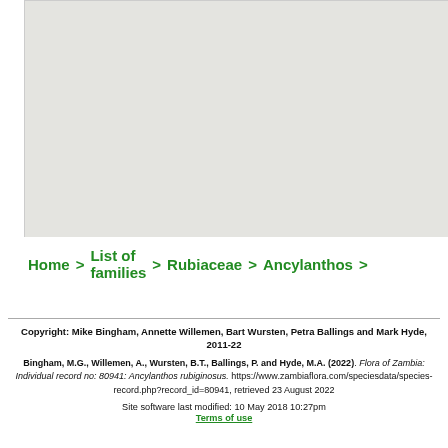[Figure (map): A light grey map placeholder area representing a geographic map view.]
Home > List of families > Rubiaceae > Ancylanthos >
Copyright: Mike Bingham, Annette Willemen, Bart Wursten, Petra Ballings and Mark Hyde, 2011-22
Bingham, M.G., Willemen, A., Wursten, B.T., Ballings, P. and Hyde, M.A. (2022). Flora of Zambia: Individual record no: 80941: Ancylanthos rubiginosus. https://www.zambiaflora.com/speciesdata/species-record.php?record_id=80941, retrieved 23 August 2022
Site software last modified: 10 May 2018 10:27pm
Terms of use